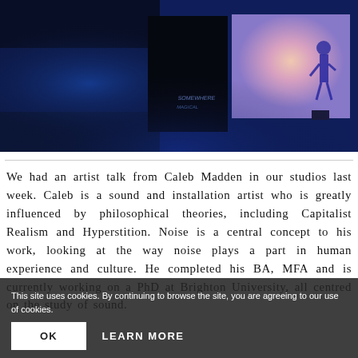[Figure (photo): Dark blue room installation with a projected screen showing a silhouette of a person, and projected text on the left wall, blue atmospheric lighting throughout]
We had an artist talk from Caleb Madden in our studios last week. Caleb is a sound and installation artist who is greatly influenced by philosophical theories, including Capitalist Realism and Hyperstition. Noise is a central concept to his work, looking at the way noise plays a part in human experience and culture. He completed his BA, MFA and is currently working on a PhD at Brighton University, all centred on the study of sound.
He started being an artist at the age of 18, initially being influenced by... and the ‘Sensation: Young British Artist’ exhibition at Saatchi Ga... was interested in the idea of human perception; and the way that culture can
This site uses cookies. By continuing to browse the site, you are agreeing to our use of cookies.